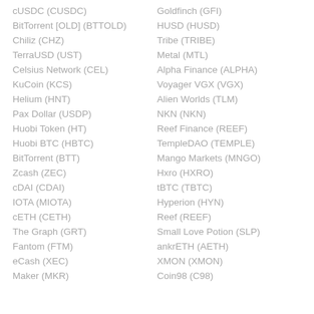cUSDC (CUSDC)
Goldfinch (GFI)
BitTorrent [OLD] (BTTOLD)
HUSD (HUSD)
Chiliz (CHZ)
Tribe (TRIBE)
TerraUSD (UST)
Metal (MTL)
Celsius Network (CEL)
Alpha Finance (ALPHA)
KuCoin (KCS)
Voyager VGX (VGX)
Helium (HNT)
Alien Worlds (TLM)
Pax Dollar (USDP)
NKN (NKN)
Huobi Token (HT)
Reef Finance (REEF)
Huobi BTC (HBTC)
TempleDAO (TEMPLE)
BitTorrent (BTT)
Mango Markets (MNGO)
Zcash (ZEC)
Hxro (HXRO)
cDAI (CDAI)
tBTC (TBTC)
IOTA (MIOTA)
Hyperion (HYN)
cETH (CETH)
Reef (REEF)
The Graph (GRT)
Small Love Potion (SLP)
Fantom (FTM)
ankrETH (AETH)
eCash (XEC)
XMON (XMON)
Maker (MKR)
Coin98 (C98)